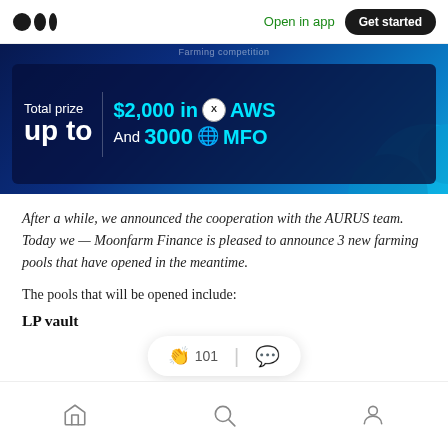Open in app | Get started
[Figure (infographic): Dark blue banner showing a farming competition prize: Total prize up to $2,000 in XAWS And 3000 MFO]
After a while, we announced the cooperation with the AURUS team. Today we — Moonfarm Finance is pleased to announce 3 new farming pools that have opened in the meantime.
The pools that will be opened include:
LP vault
101 reactions | comment | home | search | profile